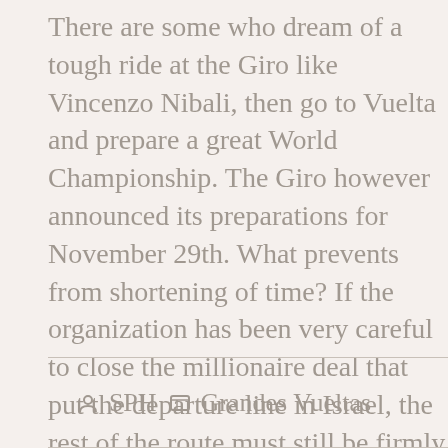There are some who dream of a tough ride at the Giro like Vincenzo Nibali, then go to Vuelta and prepare a great World Championship. The Giro however announced its preparations for November 29th. What prevents from shortening of time? If the organization has been very careful to close the millionaire deal that put the departure line in Israel, the rest of the route must still be firmly fixed. There are issues with organizations that have yet to confirm the commitment, coupled with technical issues, with local committees that have proposed unsuitable paths on inadequate roads.

And while the Tour has already defined the 2019 route, Italy is running to fix the 2018 situation.
SPH   Grandes Vueltas